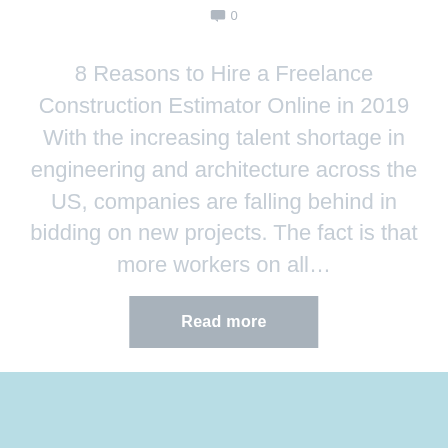0
8 Reasons to Hire a Freelance Construction Estimator Online in 2019 With the increasing talent shortage in engineering and architecture across the US, companies are falling behind in bidding on new projects. The fact is that more workers on all…
Read more